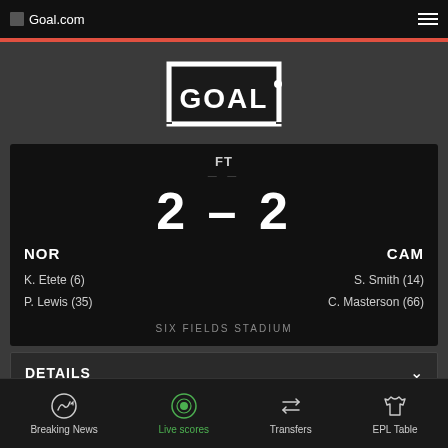Goal.com
[Figure (logo): GOAL logo - white soccer goal frame with GOAL text inside on dark background]
FT
2 – 2
NOR   CAM
K. Etete (6)
P. Lewis (35)
S. Smith (14)
C. Masterson (66)
SIX FIELDS STADIUM
DETAILS
Breaking News  Live scores  Transfers  EPL Table